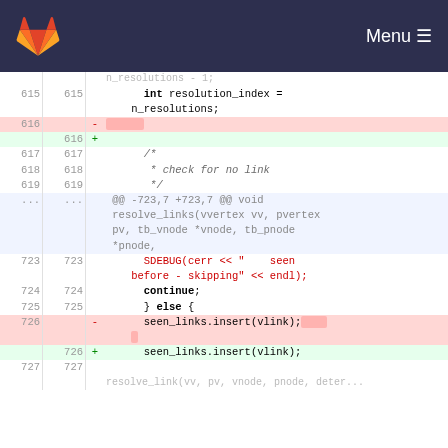[Figure (screenshot): GitLab navigation header with logo and Menu button on dark navy background]
Code diff view showing lines 615-727 of a C++ file with line number columns, diff operators (+/-), and highlighted added/removed lines. Shows resolution_index assignment, check for no link comment, SDEBUG cerr statement, continue, else block, and seen_links.insert(vlink) changes.